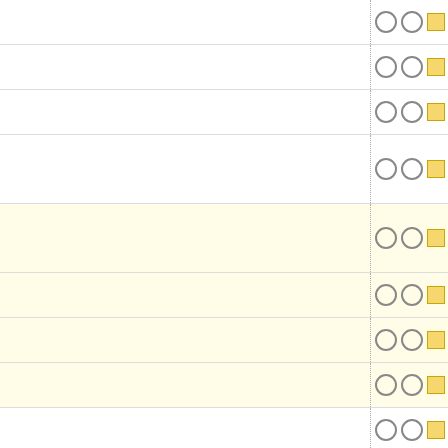|  |  |  | ID |  | Age |  |
| --- | --- | --- | --- | --- | --- | --- |
| ○ | ○ | ■ | @259:362415050b29 | ⚙ | 14 years | A |
| ○ | ○ | ■ | @236:da953e387d31 | ⚙ | 14 years | A |
| ○ | ○ | ■ | @226:4c9d85f5dc93 | ⚙ | 14 years | A |
| ○ | ○ | ■ | @225:c5a40fc54f1a | ⚙ | 14 years | A |
| ○ | ○ | ■ | @219:b9c6a47c977b | ⚙ | 14 years | A |
| ○ | ○ | ■ | @175:4eb8900a865c | ⚙ | 14 years | A |
| ○ | ○ | ■ | @153:976a014b3797 | ⚙ | 14 years | A |
| ○ | ○ | ■ | @91:e28fc773f3c0 | ⚙ | 14 years | A |
| ○ | ○ | ■ | @64:761622e5ed4c | ⚙ | 15 years | A |
| ○ | ○ | ■ | @60:6ec5dbed8f18 | ⚙ | 15 years | A |
| ○ | ○ | ■ | @65:9bd0d6e0c279 | ⚙ | 15 years | A |